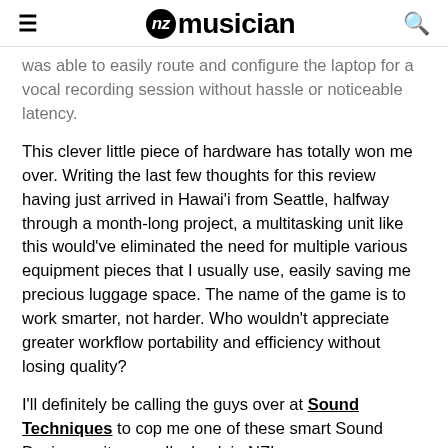NZ Musician
was able to easily route and configure the laptop for a vocal recording session without hassle or noticeable latency.
This clever little piece of hardware has totally won me over. Writing the last few thoughts for this review having just arrived in Hawai'i from Seattle, halfway through a month-long project, a multitasking unit like this would've eliminated the need for multiple various equipment pieces that I usually use, easily saving me precious luggage space. The name of the game is to work smarter, not harder. Who wouldn't appreciate greater workflow portability and efficiency without losing quality?
I'll definitely be calling the guys over at Sound Techniques to cop me one of these smart Sound Devices units once I'm back in NZ!
NZ distributor: Sound Techniques